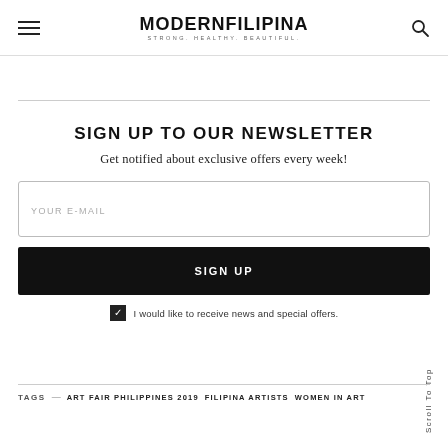MODERNFILIPINA STRONG. HEALTHY. BEAUTIFUL.
SIGN UP TO OUR NEWSLETTER
Get notified about exclusive offers every week!
YOUR E-MAIL
SIGN UP
I would like to receive news and special offers.
TAGS — ART FAIR PHILIPPINES 2019  FILIPINA ARTISTS  WOMEN IN ART
Scroll To Top